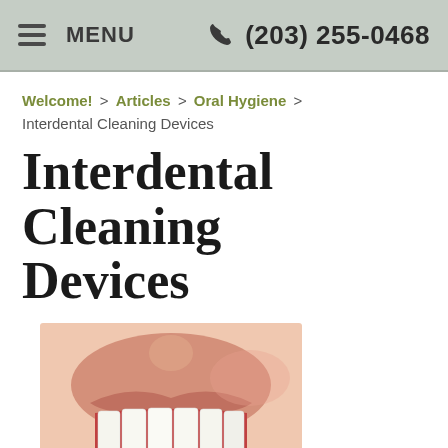MENU  (203) 255-0468
Welcome! > Articles > Oral Hygiene > Interdental Cleaning Devices
Interdental Cleaning Devices
[Figure (photo): Close-up of a person smiling showing white teeth, with a teal interdental brush being inserted between teeth]